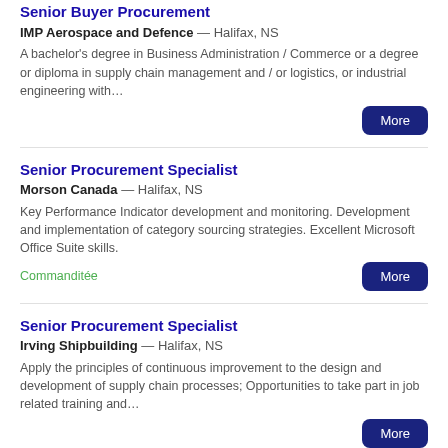Senior Buyer Procurement
IMP Aerospace and Defence — Halifax, NS
A bachelor's degree in Business Administration / Commerce or a degree or diploma in supply chain management and / or logistics, or industrial engineering with…
Senior Procurement Specialist
Morson Canada — Halifax, NS
Key Performance Indicator development and monitoring. Development and implementation of category sourcing strategies. Excellent Microsoft Office Suite skills.
Commanditée
Senior Procurement Specialist
Irving Shipbuilding — Halifax, NS
Apply the principles of continuous improvement to the design and development of supply chain processes; Opportunities to take part in job related training and…